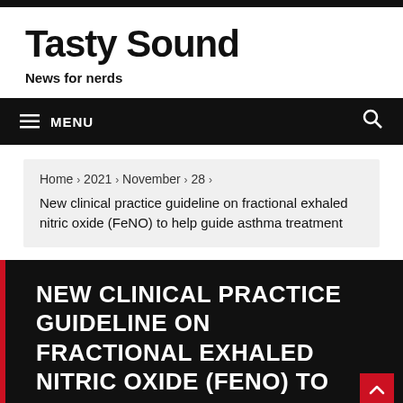Tasty Sound
News for nerds
≡ MENU
Home › 2021 › November › 28 › New clinical practice guideline on fractional exhaled nitric oxide (FeNO) to help guide asthma treatment
NEW CLINICAL PRACTICE GUIDELINE ON FRACTIONAL EXHALED NITRIC OXIDE (FENO) TO